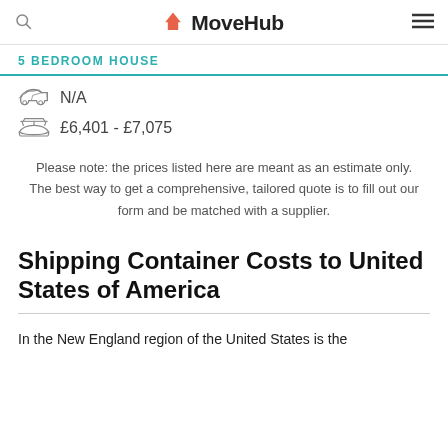MoveHub
5 BEDROOM HOUSE
N/A
£6,401 - £7,075
Please note: the prices listed here are meant as an estimate only. The best way to get a comprehensive, tailored quote is to fill out our form and be matched with a supplier.
Shipping Container Costs to United States of America
In the New England region of the United States is the